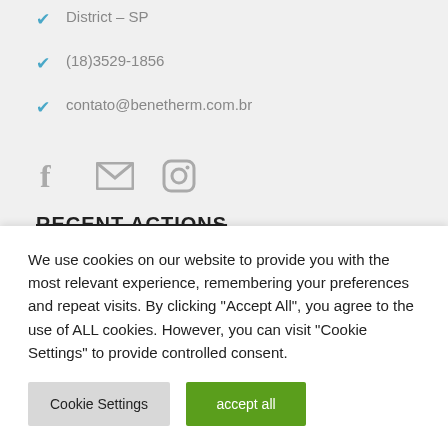... Avenida Sergovia, n. 100 – Osvaldo Cruz Industrial District – SP
(18)3529-1856
contato@benetherm.com.br
[Figure (infographic): Social media icons: Facebook (f), Email (envelope), Instagram (camera)]
RECENT ACTIONS
We use cookies on our website to provide you with the most relevant experience, remembering your preferences and repeat visits. By clicking "Accept All", you agree to the use of ALL cookies. However, you can visit "Cookie Settings" to provide controlled consent.
Cookie Settings | accept all